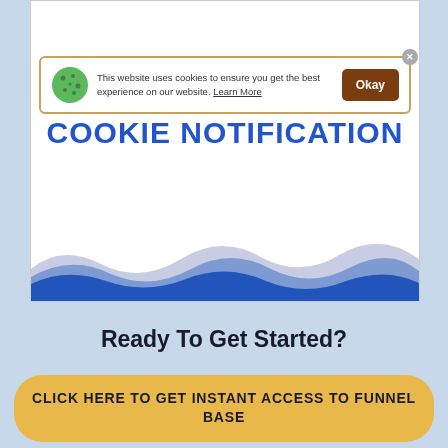[Figure (screenshot): Screenshot of a cookie consent notification banner on a website. The banner shows a cookie icon, text 'This website uses cookies to ensure you get the best experience on our website. Learn More', an 'Okay' button, a close button, and a FunnelBase badge.]
COOKIE NOTIFICATION
Ready To Get Started?
CLICK HERE TO GET INSTANT ACCESS TO FUNNEL BASE